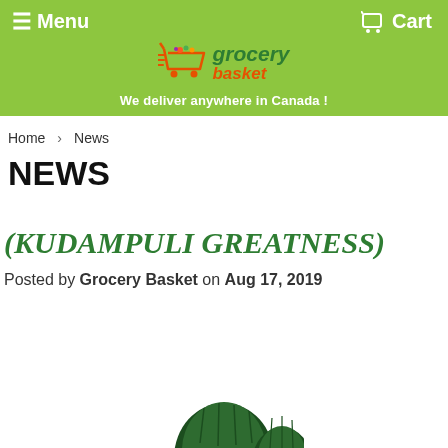≡Menu   Cart
[Figure (logo): Grocery Basket logo with shopping cart icon and fruits, yellow-green background, tagline: We deliver anywhere in Canada !]
We deliver anywhere in Canada !
Home › News
NEWS
(KUDAMPULI GREATNESS)
Posted by Grocery Basket on Aug 17, 2019
[Figure (photo): Partial image of Kudampuli (Garcinia / Malabar tamarind) fruit at the bottom of the page]